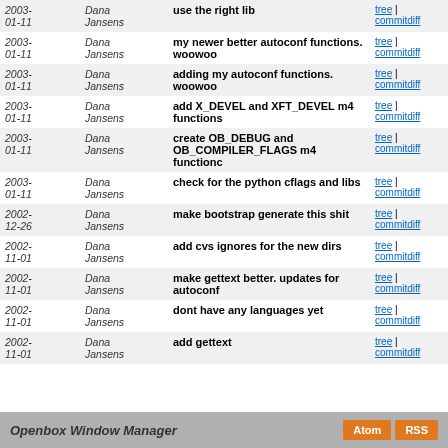| Date | Author | Message | Links |
| --- | --- | --- | --- |
| 2003-01-11 | Dana Jansens | use the right lib | tree | commitdiff |
| 2003-01-11 | Dana Jansens | my newer better autoconf functions. woowoo | tree | commitdiff |
| 2003-01-11 | Dana Jansens | adding my autoconf functions. woowoo | tree | commitdiff |
| 2003-01-11 | Dana Jansens | add X_DEVEL and XFT_DEVEL m4 functions | tree | commitdiff |
| 2003-01-11 | Dana Jansens | create OB_DEBUG and OB_COMPILER_FLAGS m4 functionc | tree | commitdiff |
| 2003-01-11 | Dana Jansens | check for the python cflags and libs | tree | commitdiff |
| 2002-12-26 | Dana Jansens | make bootstrap generate this shit | tree | commitdiff |
| 2002-11-01 | Dana Jansens | add cvs ignores for the new dirs | tree | commitdiff |
| 2002-11-01 | Dana Jansens | make gettext better. updates for autoconf | tree | commitdiff |
| 2002-11-01 | Dana Jansens | dont have any languages yet | tree | commitdiff |
| 2002-11-01 | Dana Jansens | add gettext | tree | commitdiff |
Openbox Window Manager   Atom  RSS